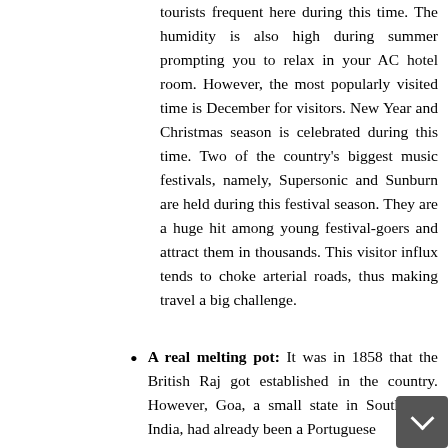tourists frequent here during this time. The humidity is also high during summer prompting you to relax in your AC hotel room. However, the most popularly visited time is December for visitors. New Year and Christmas season is celebrated during this time. Two of the country's biggest music festivals, namely, Supersonic and Sunburn are held during this festival season. They are a huge hit among young festival-goers and attract them in thousands. This visitor influx tends to choke arterial roads, thus making travel a big challenge.
A real melting pot: It was in 1858 that the British Raj got established in the country. However, Goa, a small state in South-West India, had already been a Portuguese